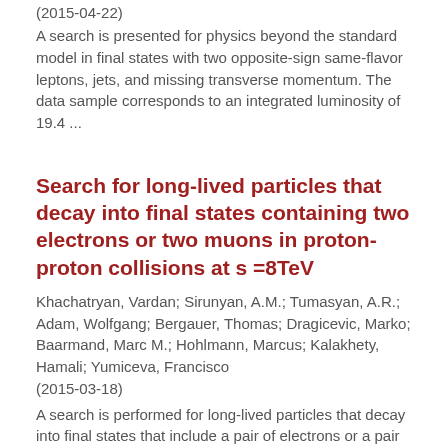(2015-04-22)
A search is presented for physics beyond the standard model in final states with two opposite-sign same-flavor leptons, jets, and missing transverse momentum. The data sample corresponds to an integrated luminosity of 19.4 ...
Search for long-lived particles that decay into final states containing two electrons or two muons in proton-proton collisions at s =8TeV
Khachatryan, Vardan; Sirunyan, A.M.; Tumasyan, A.R.; Adam, Wolfgang; Bergauer, Thomas; Dragicevic, Marko; Baarmand, Marc M.; Hohlmann, Marcus; Kalakhety, Hamali; Yumiceva, Francisco (2015-03-18)
A search is performed for long-lived particles that decay into final states that include a pair of electrons or a pair of muons. The experimental signature is a distinctive topology consisting of a pair of charged leptons ...